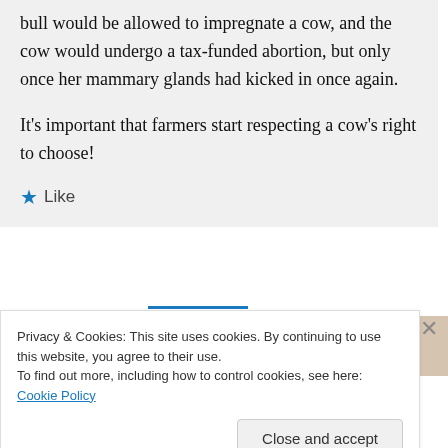bull would be allowed to impregnate a cow, and the cow would undergo a tax-funded abortion, but only once her mammary glands had kicked in once again.

It's important that farmers start respecting a cow's right to choose!
★ Like
Privacy & Cookies: This site uses cookies. By continuing to use this website, you agree to their use.
To find out more, including how to control cookies, see here: Cookie Policy
Close and accept